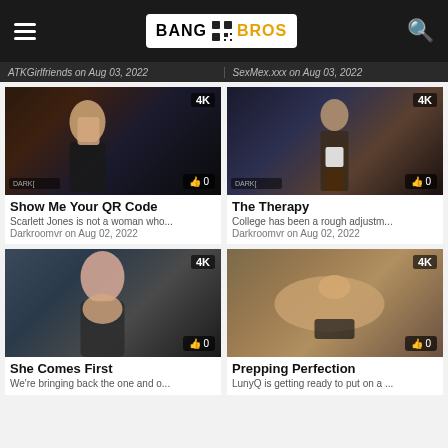BANG BROS
ATKGirlfriends on Aug 03, 2022 | SexMex.xxx on Aug 03, 2022
[Figure (photo): Video thumbnail for 'Show Me Your QR Code' labeled 4K with 0 likes]
Show Me Your QR Code
Scarlett Jones is not a woman who...
Darkroomvr on Aug 02, 2022
[Figure (photo): Video thumbnail for 'The Therapy' labeled 4K with 0 likes]
The Therapy
College has been a rough adjustm...
Darkroomvr on Aug 02, 2022
[Figure (photo): Video thumbnail for 'She Comes First' labeled 4K with 0 likes]
She Comes First
We're bringing back the one and o...
[Figure (photo): Video thumbnail for 'Prepping Perfection' labeled 4K with 0 likes]
Prepping Perfection
LunyQ is getting ready to put on a ...